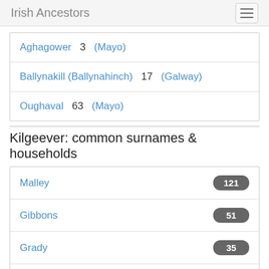Irish Ancestors
Aghagower   3   (Mayo)
Ballynakill (Ballynahinch)   17   (Galway)
Oughaval   63   (Mayo)
Kilgeever: common surnames & households
Malley   121
Gibbons   51
Grady   35
Toole   34
Houston   22